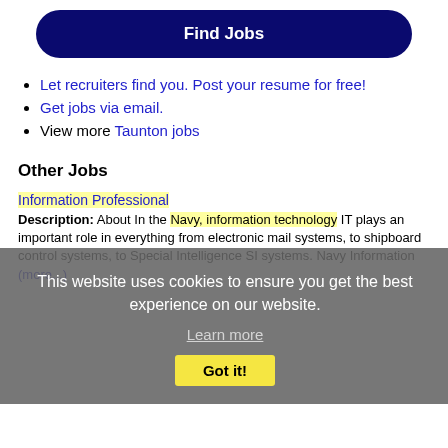Find Jobs
Let recruiters find you. Post your resume for free!
Get jobs via email.
View more Taunton jobs
Other Jobs
This website uses cookies to ensure you get the best experience on our website. Learn more Got it!
Information Professional
Description: About In the Navy, information technology IT plays an important role in everything from electronic mail systems, to shipboard control systems, to Special Intelligence SI systems. Navy Information (more...)